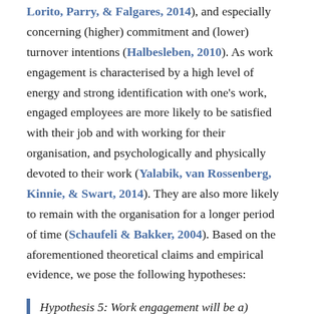Lorito, Parry, & Falgares, 2014), and especially concerning (higher) commitment and (lower) turnover intentions (Halbesleben, 2010). As work engagement is characterised by a high level of energy and strong identification with one's work, engaged employees are more likely to be satisfied with their job and with working for their organisation, and psychologically and physically devoted to their work (Yalabik, van Rossenberg, Kinnie, & Swart, 2014). They are also more likely to remain with the organisation for a longer period of time (Schaufeli & Bakker, 2004). Based on the aforementioned theoretical claims and empirical evidence, we pose the following hypotheses:
Hypothesis 5: Work engagement will be a) positively